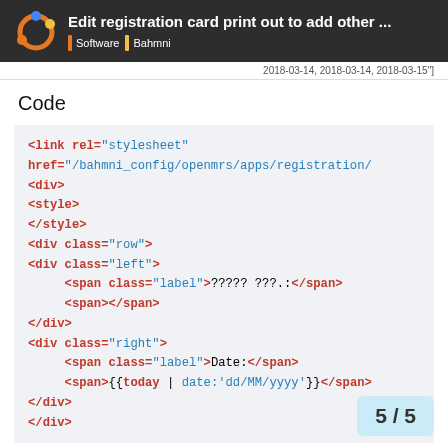Edit registration card print out to add other ... | Software | Bahmni
2018-03-14, 2018-03-14, 2018-03-15"]
Code
<link rel="stylesheet" href="/bahmni_config/openmrs/apps/registration/
<div>
<style>
</style>
<div class="row">
<div class="left">
    <span class="label">????? ???.:</span>
    <span></span>
</div>
<div class="right">
    <span class="label">Date:</span>
    <span>{{today | date:'dd/MM/yyyy'}}</span>
</div>
</div>
5 / 5